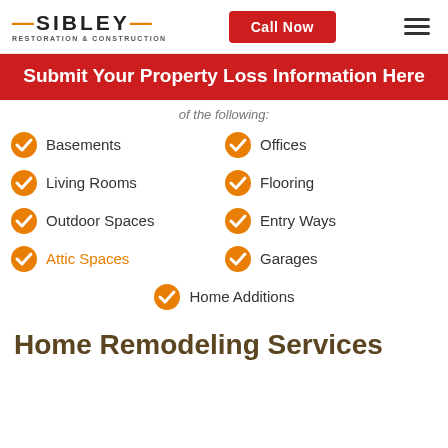[Figure (logo): Sibley Restoration & Construction logo with orange accent]
Call Now
Submit Your Property Loss Information Here
of the following:
Basements
Offices
Living Rooms
Flooring
Outdoor Spaces
Entry Ways
Attic Spaces
Garages
Home Additions
Home Remodeling Services